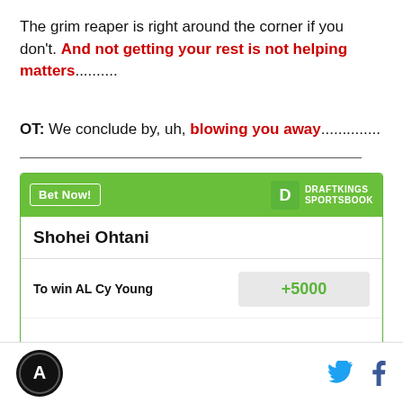The grim reaper is right around the corner if you don't. And not getting your rest is not helping matters..........
OT: We conclude by, uh, blowing you away..............
| Shohei Ohtani |
| To win AL Cy Young | +5000 |